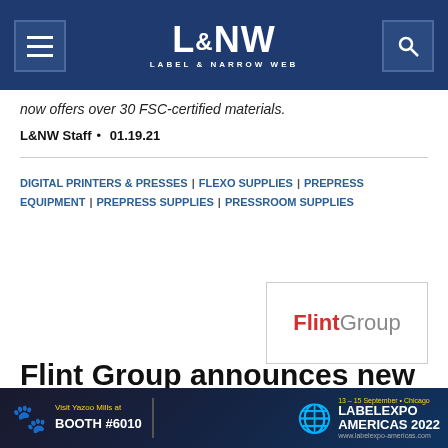L&NW Label & Narrow Web
now offers over 30 FSC-certified materials.
L&NW Staff • 01.19.21
DIGITAL PRINTERS & PRESSES | FLEXO SUPPLIES | PREPRESS EQUIPMENT | PREPRESS SUPPLIES | PRESSROOM SUPPLIES
[Figure (logo): Flint Group logo — 'Flint' in bold red, 'Group' in grey, inside a rectangular border]
Flint Group announces new XSYS division
The new division combines Flint Group's Flexographic...
[Figure (photo): Advertisement banner for Yazoo Mills at Labelexpo Americas 2022, Booth #6010, 13-15 September, Chicago]